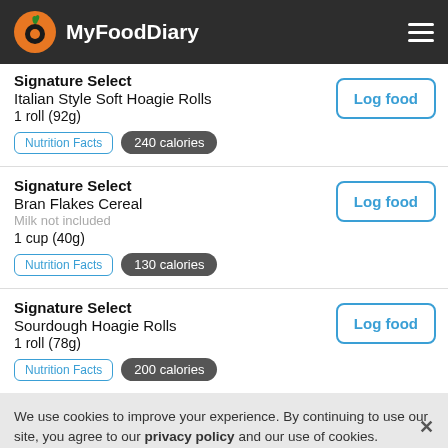MyFoodDiary
Signature Select
Italian Style Soft Hoagie Rolls
1 roll (92g)
Nutrition Facts  240 calories
Log food
Signature Select
Bran Flakes Cereal
Milk not included
1 cup (40g)
Nutrition Facts  130 calories
Log food
Signature Select
Sourdough Hoagie Rolls
1 roll (78g)
Nutrition Facts  200 calories
Log food
We use cookies to improve your experience. By continuing to use our site, you agree to our privacy policy and our use of cookies.